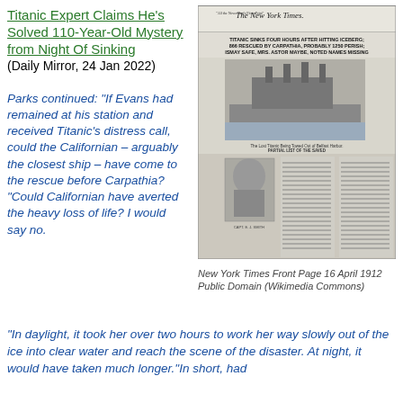Titanic Expert Claims He's Solved 110-Year-Old Mystery from Night Of Sinking (Daily Mirror, 24 Jan 2022)
Parks continued: “If Evans had remained at his station and received Titanic’s distress call, could the Californian – arguably the closest ship – have come to the rescue before Carpathia? “Could Californian have averted the heavy loss of life? I would say no. “In daylight, it took her over two hours to work her way slowly out of the ice into clear water and reach the scene of the disaster. At night, it would have taken much longer.”In short, had
[Figure (photo): New York Times front page from April 16, 1912, with headline about Titanic sinking, photo of the ship, and partial list of saved passengers.]
New York Times Front Page 16 April 1912 Public Domain (Wikimedia Commons)